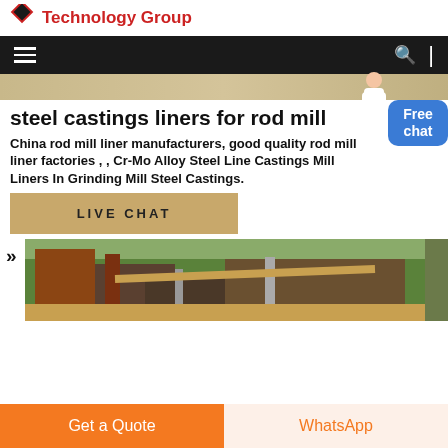Technology Group
[Figure (screenshot): Navigation bar with hamburger menu icon on left and search icon with vertical divider on right, dark background]
steel castings liners for rod mill
China rod mill liner manufacturers, good quality rod mill liner factories , , Cr-Mo Alloy Steel Line Castings Mill Liners In Grinding Mill Steel Castings.
[Figure (other): Blue Free chat badge with person illustration]
[Figure (other): LIVE CHAT button in tan/khaki color]
[Figure (photo): Industrial mining/crushing equipment machinery outdoors with green trees in background]
Get a Quote   WhatsApp